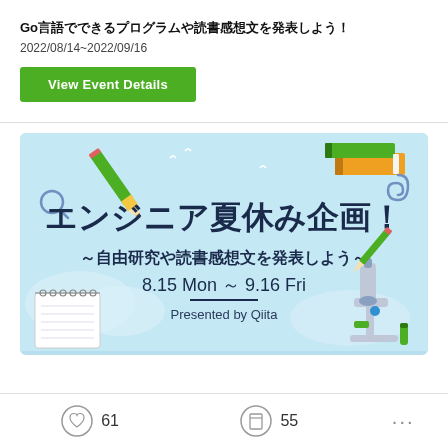Go言語でできるプログラムや読書感想文を発表しよう！
2022/08/14~2022/09/16
View Event Details
[Figure (illustration): Event banner image for Qiita engineer summer vacation project (エンジニア夏休み企画！～自由研究や読書感想文を発表しよう～ 8.15 Mon ~ 9.16 Fri, Presented by Qiita) with light blue background, pencils, notebook, microscope decorations.]
61
55